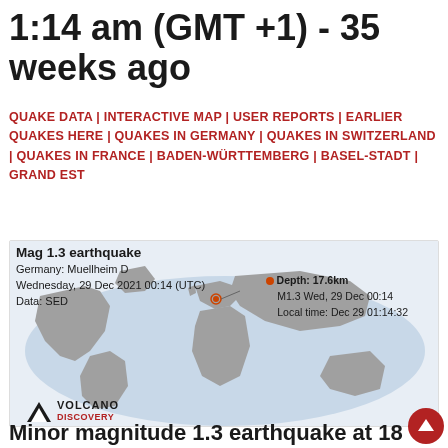1:14 am (GMT +1) - 35 weeks ago
QUAKE DATA | INTERACTIVE MAP | USER REPORTS | EARLIER QUAKES HERE | QUAKES IN GERMANY | QUAKES IN SWITZERLAND | QUAKES IN FRANCE | BADEN-WÜRTTEMBERG | BASEL-STADT | GRAND EST
[Figure (map): World map showing earthquake location near Germany/Switzerland border. Popup shows: Mag 1.3 earthquake, Germany: Muellheim D, Wednesday, 29 Dec 2021 00:14 (UTC), Data: SED, Depth: 17.6km, M1.3 Wed, 29 Dec 00:14, Local time: Dec 29 01:14:32]
[Figure (logo): Volcano Discovery logo with triangle/mountain icon]
Minor magnitude 1.3 earthquake at 18 km depth